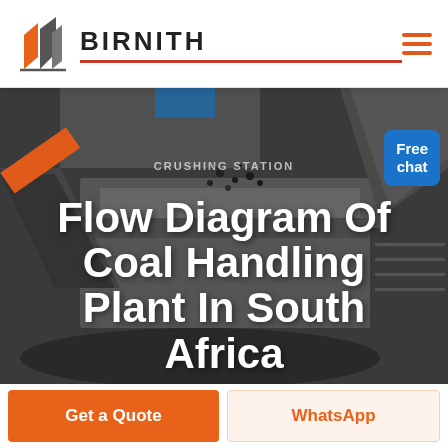[Figure (logo): Birnith company logo: stylized building/construction icon in orange and dark gray with BIRNITH text and red underline]
[Figure (photo): Black and white photograph of heavy industrial coal crushing/handling machinery at a crushing station, with coal falling from conveyor]
Flow Diagram Of Coal Handling Plant In South Africa
[Figure (other): Free chat button widget with blue background in top right corner, showing a customer service representative]
Get a Quote
WhatsApp